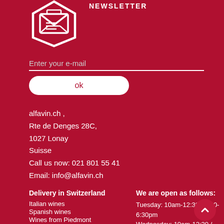NEWSLETTER
[Figure (illustration): White envelope/newsletter icon on dark red background]
Enter your e-mail
ok
alfavin.ch ,
Rte de Denges 28C,
1027 Lonay
Suisse
Call us now: 021 801 55 41
Email: info@alfavin.ch
Delivery in Switzerland
Italian wines
Spanish wines
Wines from Piedmont
Venetian Wines
Wines from Tuscany
We are open as follows:
Tuesday: 10am-12:30 / 1:30-6:30pm
Wednesday: 10am-12:30 / 1:30-6:30
Thursday: 10am-12:30 / 1:30-